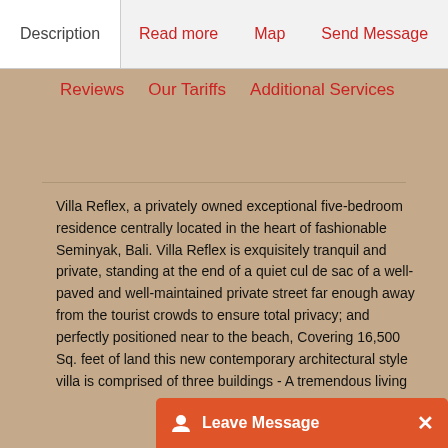Description  Read more  Map  Send Message
Reviews   Our Tariffs   Additional Services
Villa Reflex, a privately owned exceptional five-bedroom residence centrally located in the heart of fashionable Seminyak, Bali. Villa Reflex is exquisitely tranquil and private, standing at the end of a quiet cul de sac of a well-paved and well-maintained private street far enough away from the tourist crowds to ensure total privacy; and perfectly positioned near to the beach, Covering 16,500 Sq. feet of land this new contemporary architectural style villa is comprised of three buildings - A tremendous living and dining pavilion, facing onto the expansive 25-meter swimming pool and beautiful garden laid to lawn; and two standalone sleeping pavilions, each housing three and two deluxe bedrooms respectively. Offering the renting options of 3 bedrooms and 5 bedrooms, accommodating up to ten people although with additional beds this can further accommodate an additional two people. Villa Reflection is well appointed and has beautiful teak floors throughput, together with the elega... richness and character. A modern European kitchen